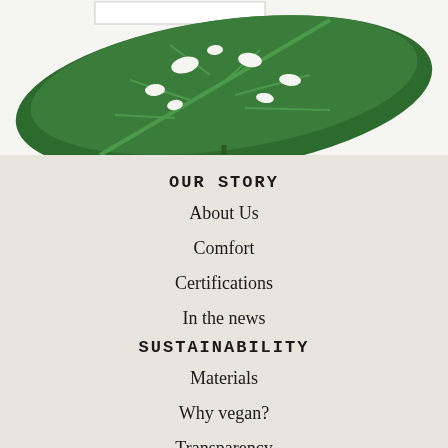[Figure (photo): Green monstera leaf close-up on white background, top portion of page]
OUR STORY
About Us
Comfort
Certifications
In the news
SUSTAINABILITY
Materials
Why vegan?
Transparency